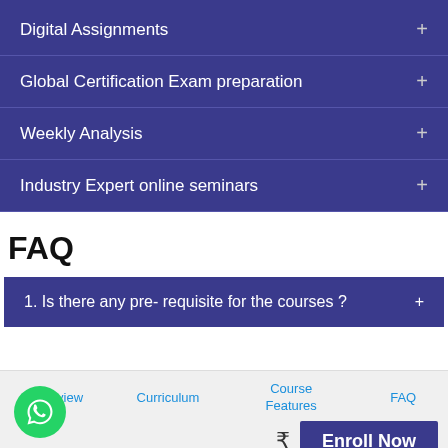Digital Assignments +
Global Certification Exam preparation +
Weekly Analysis +
Industry Expert online seminars +
FAQ
1. Is there any pre- requisite for the courses ? +
Overview   Curriculum   Course Features   FAQ   ₹   Enroll Now